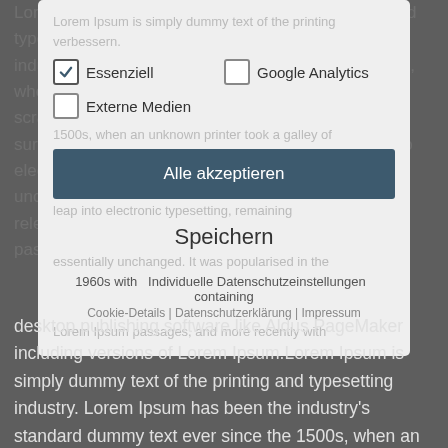Lorem Ipsum is simply dummy text of the printing and typesetting industry. Lorem Ipsum has been the industry's standard dummy text ever since the 1500s, when an unknown printer took a galley of type and scrambled it to make a type specimen book. It has survived not only five centuries, but also the leap into electronic typesetting, remaining essentially unchanged. It was popularised in the 1960s with the release of Letraset sheets containing Lorem Ipsum passages, and more recently with desktop publishing software like Aldus PageMaker including versions of Lorem Ipsum.Lorem Ipsum is simply dummy text of the printing and typesetting industry. Lorem Ipsum has been the industry's standard dummy text ever since the 1500s, when an unknown printer took a galley of type and scrambled
[Figure (screenshot): Cookie consent modal dialog overlay with checkboxes for 'Essenziell' (checked) and 'Google Analytics' (unchecked), 'Externe Medien' (unchecked), 'Alle akzeptieren' dark teal button, 'Speichern' text button, 'Individuelle Datenschutzeinstellungen' link, and footer links for Cookie-Details, Datenschutzerklärung, Impressum]